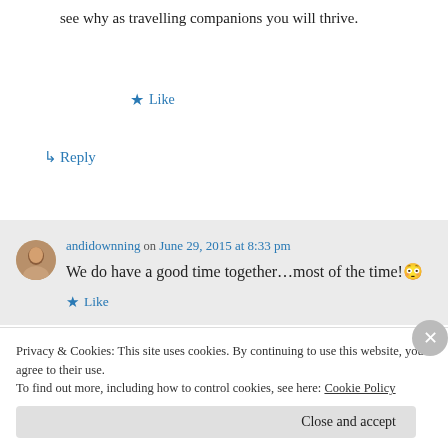see why as travelling companions you will thrive.
★ Like
↳ Reply
andidownning on June 29, 2015 at 8:33 pm
We do have a good time together…most of the time!😳
★ Like
Privacy & Cookies: This site uses cookies. By continuing to use this website, you agree to their use. To find out more, including how to control cookies, see here: Cookie Policy
Close and accept